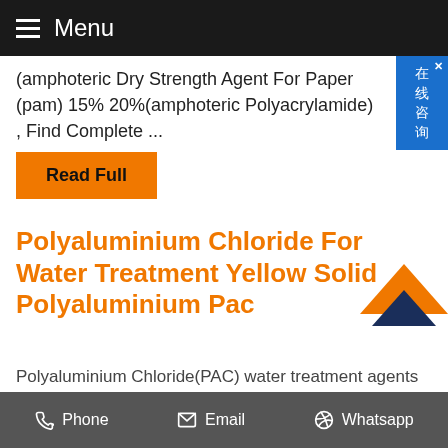≡ Menu
(amphoteric Dry Strength Agent For Paper (pam) 15% 20%(amphoteric Polyacrylamide) , Find Complete ...
Read Full
Polyaluminium Chloride For Water Treatment Yellow Solid Polyaluminium Pac
Polyaluminium Chloride(PAC) water treatment agents Polyaluminium Chloride(PAC) is a high efficient water treatment agent for industry water, drinking water. Light ...
Read Full
Phone  Email  Whatsapp